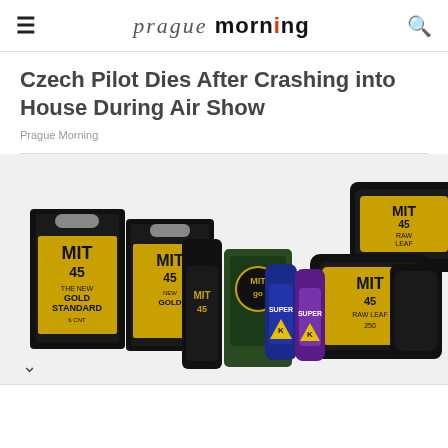prague morning
Czech Pilot Dies After Crashing into House During Air Show
Prague Morning
[Figure (photo): Collection of MIT 45 kratom products including boxes, jars, bottles and liquid shots with gold and black packaging, plus Super K branded shot bottles in blue and purple.]